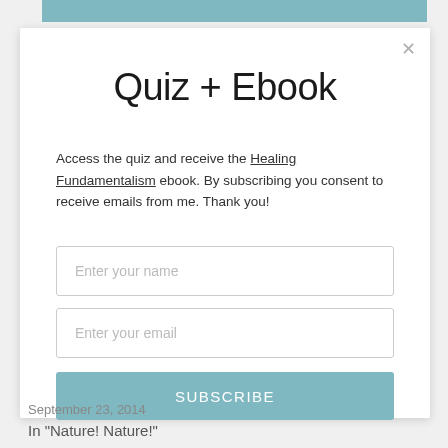[Figure (screenshot): Teal subscribe bar partially visible at top of page]
Quiz + Ebook
Access the quiz and receive the Healing Fundamentalism ebook. By subscribing you consent to receive emails from me. Thank you!
Enter your name
Enter your email
SUBSCRIBE
September 23, 2014
In "Nature! Nature!"